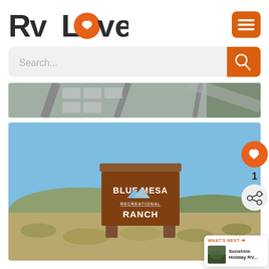[Figure (logo): RVLove website logo with orange heart in the letter O]
[Figure (screenshot): Hamburger menu button in orange]
[Figure (screenshot): Search bar with placeholder text 'Search...' and orange search button]
[Figure (photo): Aerial view of an RV park or campground, partially visible]
[Figure (photo): Blue Mesa Recreational Ranch entrance sign - rustic wooden sign with mountains motif, set against blue sky with desert landscape]
WHAT'S NEXT → Sunshine Holiday RV...